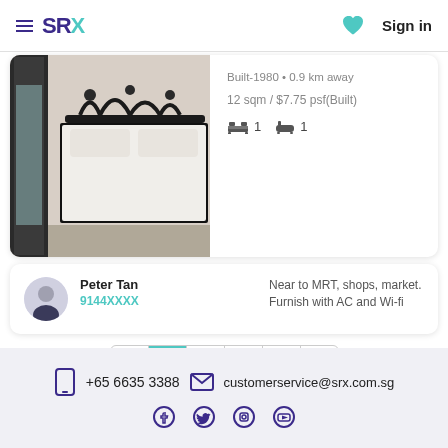SRX — Sign in
Built-1980 • 0.9 km away
12 sqm / $7.75 psf(Built)
🛏 1  🛁 1
[Figure (photo): Bedroom with iron bed frame, white mattress, and door with mirror]
Peter Tan
9144XXXX
Near to MRT, shops, market. Furnish with AC and Wi-fi
‹ 1 2 3 4 ›
+65 6635 3388  customerservice@srx.com.sg